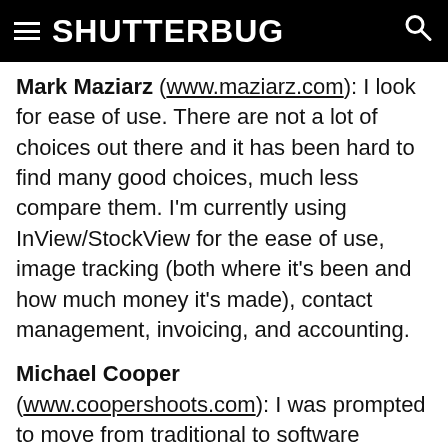SHUTTERBUG
Mark Maziarz (www.maziarz.com): I look for ease of use. There are not a lot of choices out there and it has been hard to find many good choices, much less compare them. I'm currently using InView/StockView for the ease of use, image tracking (both where it's been and how much money it's made), contact management, invoicing, and accounting.
Michael Cooper (www.coopershoots.com): I was prompted to move from traditional to software because digital asset management is simple, easy, and much more powerful than analog. The volume of digital files I started to accumulate made it